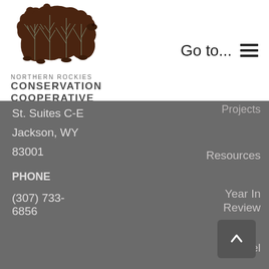[Figure (logo): Northern Rockies Conservation Cooperative bear logo with tree pattern inside bear silhouette]
NORTHERN ROCKIES
CONSERVATION
COOPERATIVE
Go to...
Projects
St. Suites C-E
Resources
Jackson, WY
83001
Year In
Review
PHONE
Apparel
(307) 733-
6856